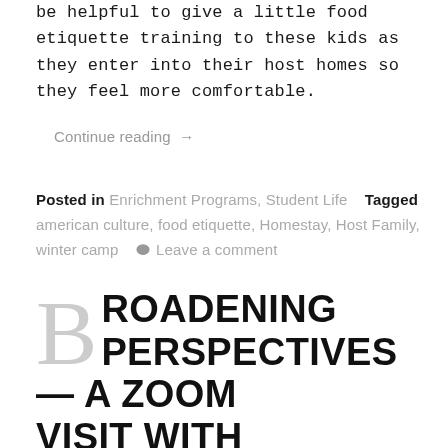be helpful to give a little food etiquette training to these kids as they enter into their host homes so they feel more comfortable.
Continue reading →
Posted in Enrichment Programs, Student Life   Tagged american culture, food etiquette, Homestay, Host Family, winter camp   💬 Leave a comment
BROADENING PERSPECTIVES — A ZOOM VISIT WITH BOWEN'S